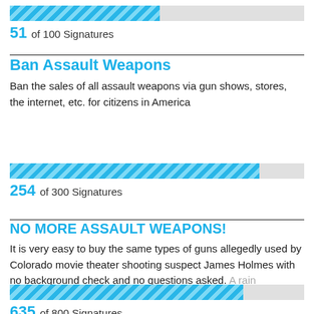[Figure (infographic): Progress bar showing 51 of 100 signatures, approximately 51% filled with blue diagonal stripe pattern]
51 of 100 Signatures
Ban Assault Weapons
Ban the sales of all assault weapons via gun shows, stores, the internet, etc. for citizens in America
[Figure (infographic): Progress bar showing 254 of 300 signatures, approximately 85% filled with blue diagonal stripe pattern]
254 of 300 Signatures
NO MORE ASSAULT WEAPONS!
It is very easy to buy the same types of guns allegedly used by Colorado movie theater shooting suspect James Holmes with no background check and no questions asked. A rain
[Figure (infographic): Progress bar showing 635 of 800 signatures, approximately 79% filled with blue diagonal stripe pattern]
635 of 800 Signatures